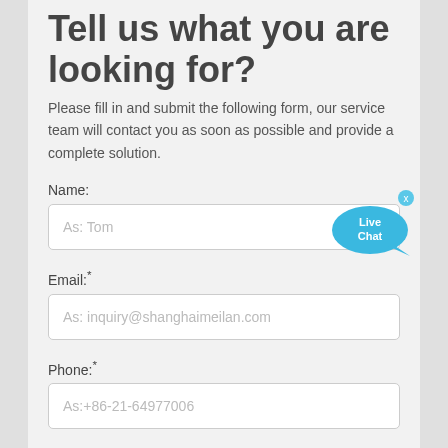Tell us what you are looking for?
Please fill in and submit the following form, our service team will contact you as soon as possible and provide a complete solution.
Name:
As: Tom
Email:*
As: inquiry@shanghaimeilan.com
Phone:*
As:+86-21-64977006
The Location of the Project: